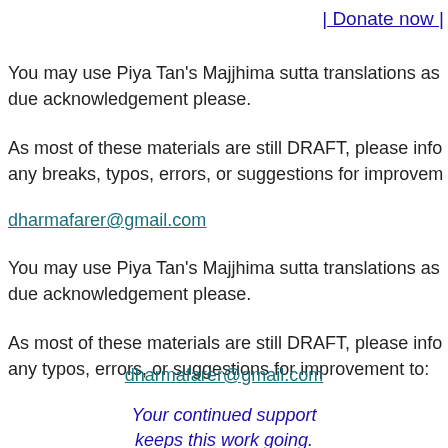| Donate now |
You may use Piya Tan's Majjhima sutta translations as due acknowledgement please.
As most of these materials are still DRAFT, please info any breaks, typos, errors, or suggestions for improvem
dharmafarer@gmail.com
You may use Piya Tan's Majjhima sutta translations as due acknowledgement please.
As most of these materials are still DRAFT, please info any typos, errors, or suggestions for improvement to:
dharmafarer@gmail.com
Your continued support keeps this work going.